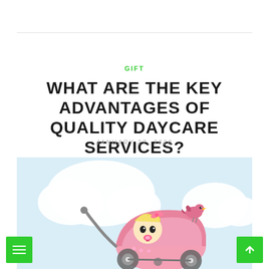GIFT
WHAT ARE THE KEY ADVANTAGES OF QUALITY DAYCARE SERVICES?
JANUARY 27, 2020
[Figure (illustration): Illustration of a baby girl with blonde hair and a pacifier sitting in a pink baby carriage/pram, with a pink bird perched on top of the carriage hood. Background shows a light blue sky with white clouds.]